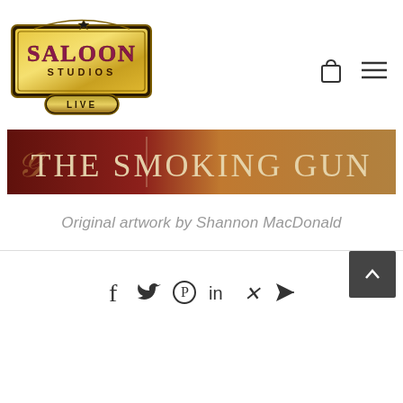[Figure (logo): Saloon Studios Live logo — gold rectangular sign with star, dark border, text SALOON STUDIOS LIVE in ornate lettering]
[Figure (illustration): The Smoking Gun banner image — dark red on left fading to golden/tan on right with decorative text reading The Smoking Gun]
Original artwork by Shannon MacDonald
[Figure (infographic): Social share icons: f (Facebook), Twitter bird, Pinterest, LinkedIn, Xing, send/arrow. Scroll-to-top button in dark grey on right.]